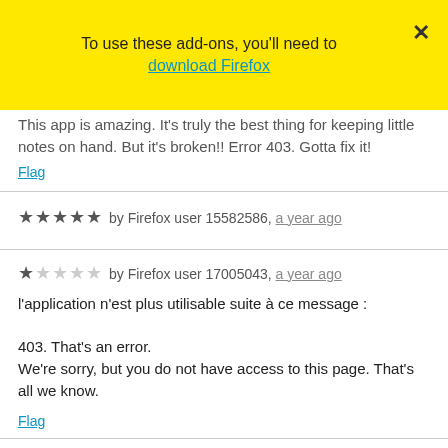To use these add-ons, you'll need to download Firefox
This app is amazing. It's truly the best thing for keeping little notes on hand. But it's broken!! Error 403. Gotta fix it!
Flag
★★★★★ by Firefox user 15582586, a year ago
★ by Firefox user 17005043, a year ago
l'application n'est plus utilisable suite à ce message :

403. That's an error.
We're sorry, but you do not have access to this page. That's all we know.
Flag
★★★ by Firefox user 10406892, a year ago